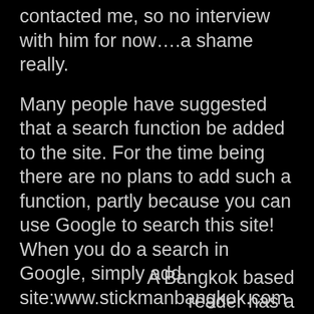contacted me, so no interview with him for now….a shame really.
Many people have suggested that a search function be added to the site. For the time being there are no plans to add such a function, partly because you can use Google to search this site! When you do a search in Google, simply add site:www.stickmanbangkok.com as part of the search so Google will restrict the search to this site only. For example, to search for dowry, you would type exactly the following in the Google search bar dowry site:www.stickmanbangkok.com and bang, there are already over 50 pages found!
A Bangkok based reader has a